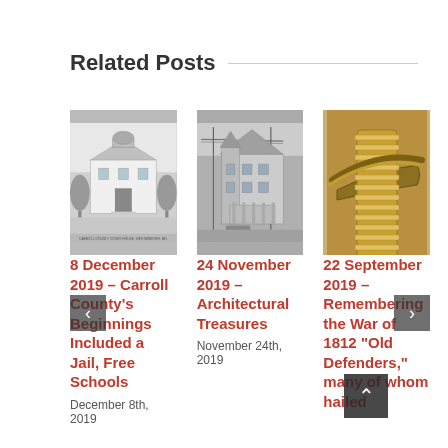Related Posts
[Figure (photo): Black and white sketch/engraving of a courthouse or county building with trees]
8 December 2019 – Carroll County's Beginnings Included a Jail, Free Schools
December 8th, 2019
[Figure (photo): Black and white photograph of a Victorian-style building with a porch]
24 November 2019 – Architectural Treasures
November 24th, 2019
[Figure (photo): Close-up color photo of a Civil War era sword hilt/guard with gold/brass wrapped grip]
22 September 2019 – Remembering the War of 1812 "Old Defenders," many of whom hailed